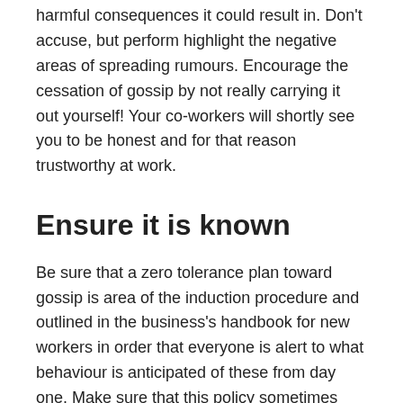harmful consequences it could result in. Don't accuse, but perform highlight the negative areas of spreading rumours. Encourage the cessation of gossip by not really carrying it out yourself! Your co-workers will shortly see you to be honest and for that reason trustworthy at work.
Ensure it is known
Be sure that a zero tolerance plan toward gossip is area of the induction procedure and outlined in the business's handbook for new workers in order that everyone is alert to what behaviour is anticipated of these from day one. Make sure that this policy sometimes appears to be applied and that inner disciplinary methods are taken where considered